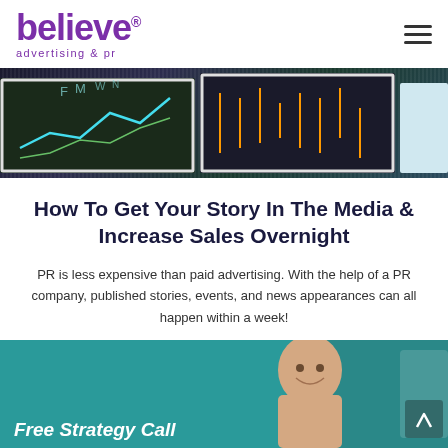believe advertising & pr
[Figure (photo): Dark chalkboard with financial chart lines drawn in chalk, close-up photo]
How To Get Your Story In The Media & Increase Sales Overnight
PR is less expensive than paid advertising. With the help of a PR company, published stories, events, and news appearances can all happen within a week!
WATCH WEBINAR
[Figure (photo): Smiling bald man in teal-background section with partial text 'Free Strategy Call' visible at bottom]